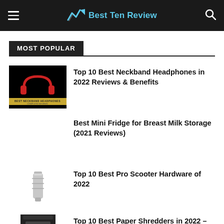Best Ten Review
MOST POPULAR
Top 10 Best Neckband Headphones in 2022 Reviews & Benefits
Best Mini Fridge for Breast Milk Storage (2021 Reviews)
Top 10 Best Pro Scooter Hardware of 2022
Top 10 Best Paper Shredders in 2022 –